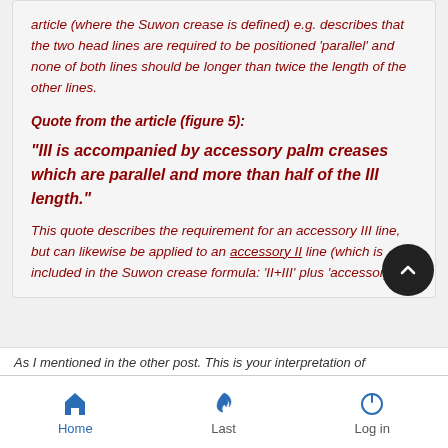article (where the Suwon crease is defined) e.g. describes that the two head lines are required to be positioned 'parallel' and none of both lines should be longer than twice the length of the other lines.
Quote from the article (figure 5):
"III is accompanied by accessory palm creases which are parallel and more than half of the III length."
This quote describes the requirement for an accessory III line, but can likewise be applied to an accessory II line (which is included in the Suwon crease formula: 'II+III' plus 'accessory II'.
As I mentioned in the other post. This is your interpretation of
Home  Last  Log in